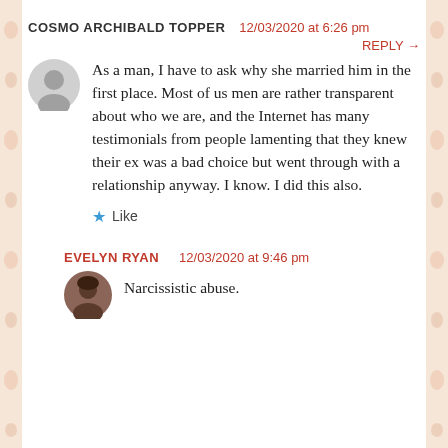COSMO ARCHIBALD TOPPER  12/03/2020 at 6:26 pm
REPLY →
As a man, I have to ask why she married him in the first place. Most of us men are rather transparent about who we are, and the Internet has many testimonials from people lamenting that they knew their ex was a bad choice but went through with a relationship anyway. I know. I did this also.
★ Like
EVELYN RYAN  12/03/2020 at 9:46 pm
Narcissistic abuse.